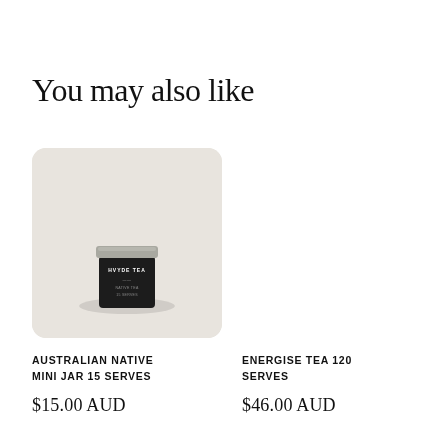You may also like
[Figure (photo): A small black tea jar with a silver lid labeled 'HVYDE TEA' sitting on a white surface, photographed in a minimalist style with soft shadows]
AUSTRALIAN NATIVE MINI JAR 15 SERVES
$15.00 AUD
ENERGISE TEA 120 SERVES
$46.00 AUD